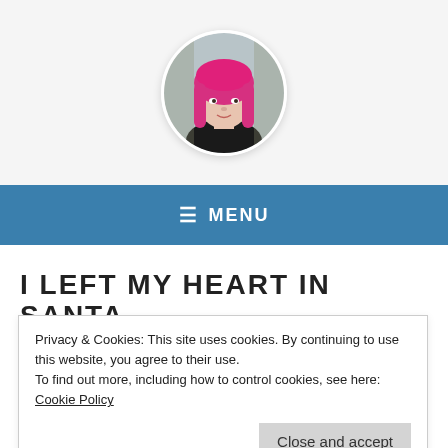[Figure (photo): Circular profile photo of a woman with bright pink/red hair wearing a black top, shown from shoulders up.]
≡ MENU
I LEFT MY HEART IN SANTA
Privacy & Cookies: This site uses cookies. By continuing to use this website, you agree to their use.
To find out more, including how to control cookies, see here: Cookie Policy
A couple weeks ago Jordan and I snuck off to California on